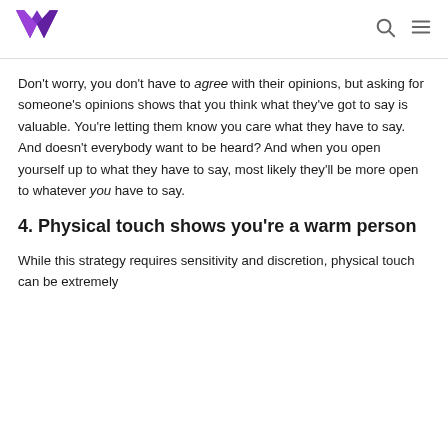Logo and navigation icons (search, menu)
Don't worry, you don't have to agree with their opinions, but asking for someone's opinions shows that you think what they've got to say is valuable. You're letting them know you care what they have to say. And doesn't everybody want to be heard? And when you open yourself up to what they have to say, most likely they'll be more open to whatever you have to say.
4. Physical touch shows you're a warm person
While this strategy requires sensitivity and discretion, physical touch can be extremely